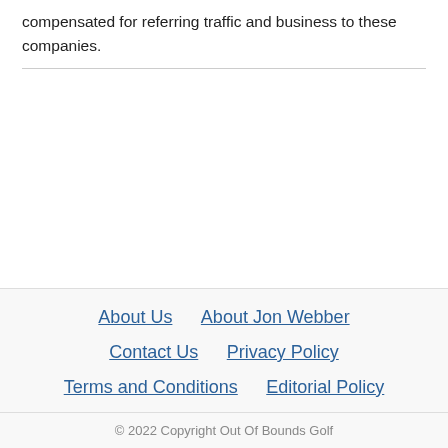compensated for referring traffic and business to these companies.
About Us
About Jon Webber
Contact Us
Privacy Policy
Terms and Conditions
Editorial Policy
© 2022 Copyright Out Of Bounds Golf